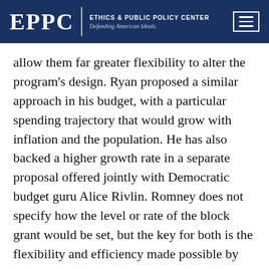EPPC | ETHICS & PUBLIC POLICY CENTER Defending American Ideals.
allow them far greater flexibility to alter the program's design. Ryan proposed a similar approach in his budget, with a particular spending trajectory that would grow with inflation and the population. He has also backed a higher growth rate in a separate proposal offered jointly with Democratic budget guru Alice Rivlin. Romney does not specify how the level or rate of the block grant would be set, but the key for both is the flexibility and efficiency made possible by block granting—a point easily made by analogy to the successful welfare reform of the ’90s.